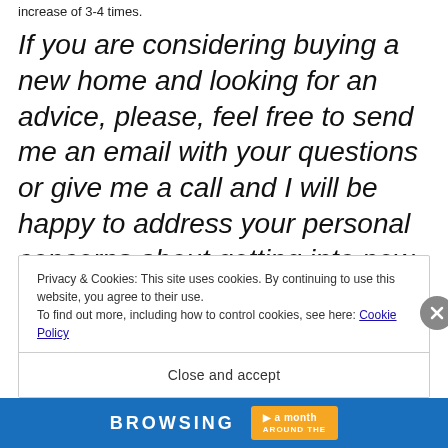increase of 3-4 times.
If you are considering buying a new home and looking for an advice, please, feel free to send me an email with your questions or give me a call and I will be happy to address your personal concerns about getting into new adventure of buying a new home.
Privacy & Cookies: This site uses cookies. By continuing to use this website, you agree to their use.
To find out more, including how to control cookies, see here: Cookie Policy
Close and accept
BROWSING